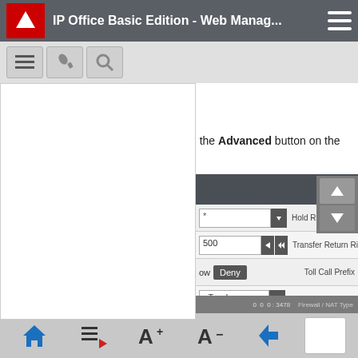IP Office Basic Edition - Web Manag...
[Figure (screenshot): IP Office Basic Edition web management interface screenshot showing toolbar icons, a white overlay panel, form fields for Hold Reminder Time, Transfer Return Ring, Toll Call Prefix, and Binding Refresh Time settings, up/down navigation arrows, and bottom navigation bar with home, list, font-increase, font-decrease, back, and blank buttons.]
g the Advanced button on the
| Field | Value | Label |
| --- | --- | --- |
| dropdown * |  | Hold Reminder Time |
| 500 | stepper | Transfer Return Ring |
| Allow/Deny | Deny | Toll Call Prefix |
| r Trunk | dropdown |  |
| No |  | Binding Refresh Time |
| 0  0  0 : 3478 |  | Firewall / NAT Type |